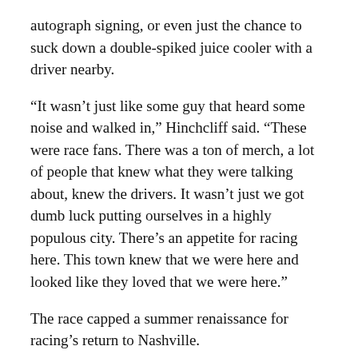autograph signing, or even just the chance to suck down a double-spiked juice cooler with a driver nearby.
“It wasn’t just like some guy that heard some noise and walked in,” Hinchcliff said. “These were race fans. There was a ton of merch, a lot of people that knew what they were talking about, knew the drivers. It wasn’t just we got dumb luck putting ourselves in a highly populous city. There’s an appetite for racing here. This town knew that we were here and looked like they loved that we were here.”
The race capped a summer renaissance for racing’s return to Nashville.
NASCAR kicked off the major race slate when Nashville Superspeedway officially reopened in June after a 10-year slumber and drew a sold-out crowd of roughly 40,000 fans to the event held about 35 miles